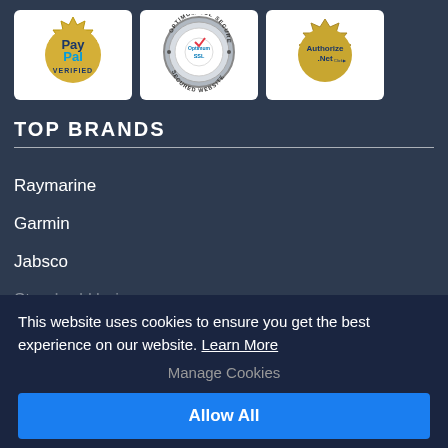[Figure (logo): PayPal Verified gold seal badge]
[Figure (logo): Optimum SSL Secured Website silver badge]
[Figure (logo): Authorize.Net Verified Merchant gold badge]
TOP BRANDS
Raymarine
Garmin
Jabsco
This website uses cookies to ensure you get the best experience on our website. Learn More
Manage Cookies
Allow All
×